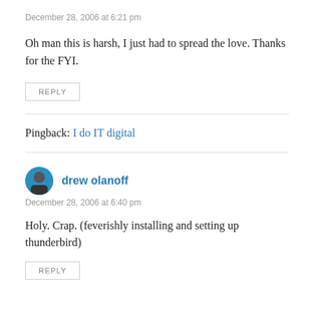December 28, 2006 at 6:21 pm
Oh man this is harsh, I just had to spread the love. Thanks for the FYI.
REPLY
Pingback: I do IT digital
drew olanoff
December 28, 2006 at 6:40 pm
Holy. Crap. (feverishly installing and setting up thunderbird)
REPLY